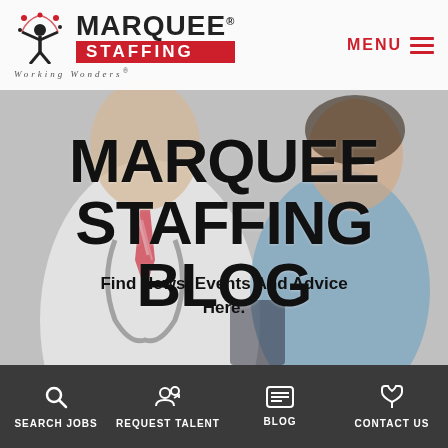[Figure (logo): Marquee Staffing logo with juggler icon, company name, STAFFING bar in red, and 'Working Wonders' tagline]
MENU ≡
[Figure (photo): Blurred background photo of two medical professionals (doctor with tie and stethoscope, nurse in blue scrubs) looking at a document]
MARQUEE STAFFING BLOG
Find News, Events And Advice Here.
SEARCH JOBS
REQUEST TALENT
BLOG
CONTACT US